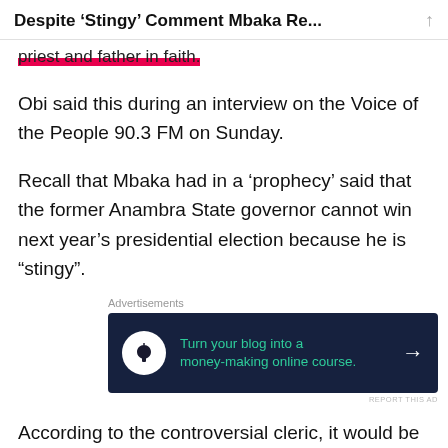Despite ‘Stingy’ Comment Mbaka Re...
priest and father in faith.
Obi said this during an interview on the Voice of the People 90.3 FM on Sunday.
Recall that Mbaka had in a ‘prophecy’ said that the former Anambra State governor cannot win next year’s presidential election because he is “stingy”.
[Figure (other): Advertisement banner: dark background with tree/person icon, green text reading 'Turn your blog into a money-making online course.' with arrow.]
According to the controversial cleric, it would be impossible for Obi to become Nigeria’s president